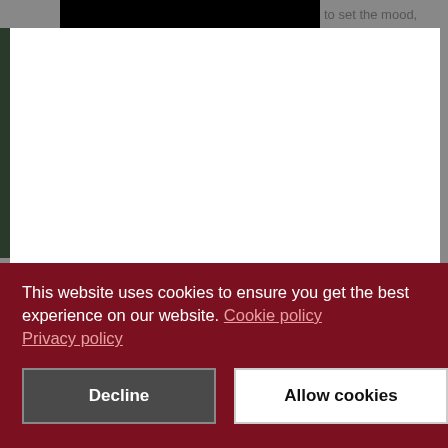[Figure (screenshot): Partial webpage screenshot showing a dark background with white modal overlay and cookie consent banner]
to set the mood,
This website uses cookies to ensure you get the best experience on our website. Cookie policy
Privacy policy
Decline
Allow cookies